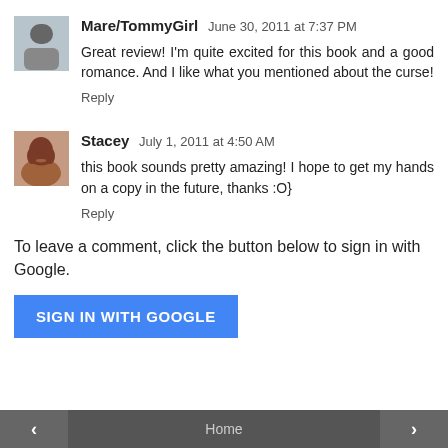Mare/TommyGirl June 30, 2011 at 7:37 PM
Great review! I'm quite excited for this book and a good romance. And I like what you mentioned about the curse!
Reply
Stacey July 1, 2011 at 4:50 AM
this book sounds pretty amazing! I hope to get my hands on a copy in the future, thanks :O}
Reply
To leave a comment, click the button below to sign in with Google.
SIGN IN WITH GOOGLE
‹  Home  ›